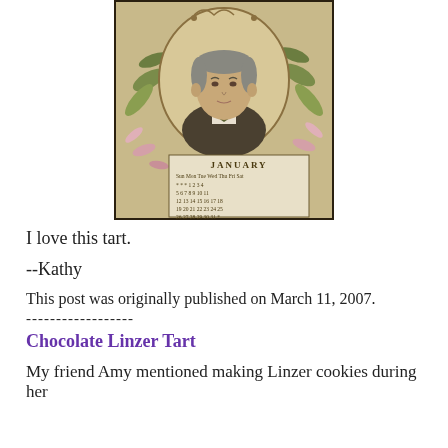[Figure (illustration): Vintage calendar illustration showing a portrait of a man in formal attire with floral decorations and a January calendar grid at the bottom]
I love this tart.
--Kathy
This post was originally published on March 11, 2007.
------------------
Chocolate Linzer Tart
My friend Amy mentioned making Linzer cookies during her